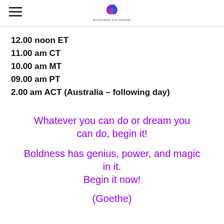[hamburger menu icon] [logo]
12.00 noon  ET
11.00 am  CT
10.00 am MT
09.00 am PT
2.00 am ACT  (Australia – following day)
Whatever you can do or dream you can do, begin it!

Boldness has genius, power, and magic in it.
Begin it now!

(Goethe)